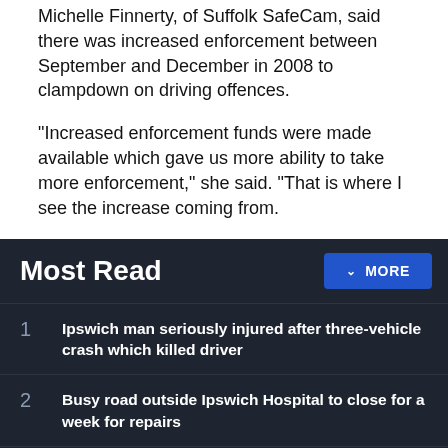Michelle Finnerty, of Suffolk SafeCam, said there was increased enforcement between September and December in 2008 to clampdown on driving offences.
“Increased enforcement funds were made available which gave us more ability to take more enforcement,” she said. “That is where I see the increase coming from.
Most Read
Ipswich man seriously injured after three-vehicle crash which killed driver
Busy road outside Ipswich Hospital to close for a week for repairs
'Deep scratches' made as BMW keyed by cyclist after altercation
Receive the top news, sport and things to do, sent to your